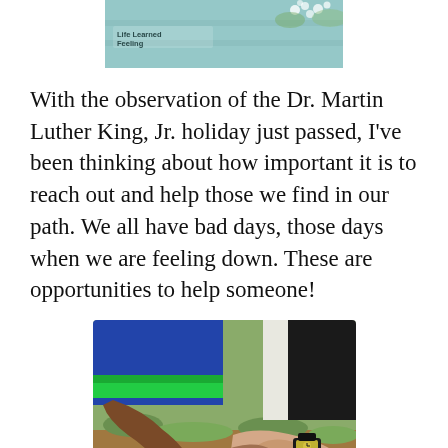[Figure (photo): Partial view of a blog header image showing 'Life Learned Feelings' text on a light blue background with white flowers]
With the observation of the Dr. Martin Luther King, Jr. holiday just passed, I've been thinking about how important it is to reach out and help those we find in our path. We all have bad days, those days when we are feeling down. These are opportunities to help someone!
[Figure (photo): Two people of different races holding hands outdoors on grass, one wearing a blue and green striped shirt, the other wearing a watch]